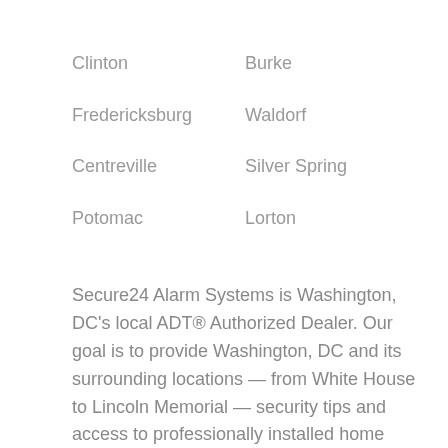Clinton
Burke
Fredericksburg
Waldorf
Centreville
Silver Spring
Potomac
Lorton
Secure24 Alarm Systems is Washington, DC's local ADT® Authorized Dealer. Our goal is to provide Washington, DC and its surrounding locations — from White House to Lincoln Memorial — security tips and access to professionally installed home alarm systems with ADT-monitoring.